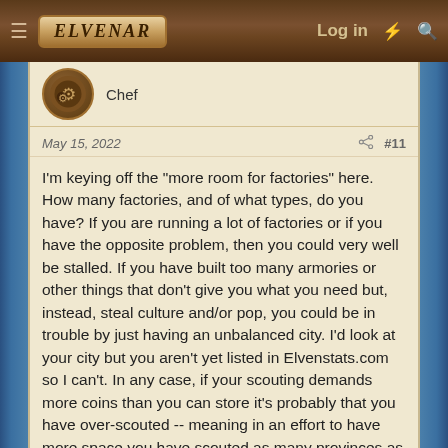Elvenar — Log in
Chef
May 15, 2022  #11
I'm keying off the "more room for factories" here. How many factories, and of what types, do you have? If you are running a lot of factories or if you have the opposite problem, then you could very well be stalled. If you have built too many armories or other things that don't give you what you need but, instead, steal culture and/or pop, you could be in trouble by just having an unbalanced city. I'd look at your city but you aren't yet listed in Elvenstats.com so I can't. In any case, if your scouting demands more coins than you can store it's probably that you have over-scouted -- meaning in an effort to have more space you have scouted as many provinces as you can and outpaced your cities ability to scout more. I assume all the provinces ready to be scouted are "very-hard?"